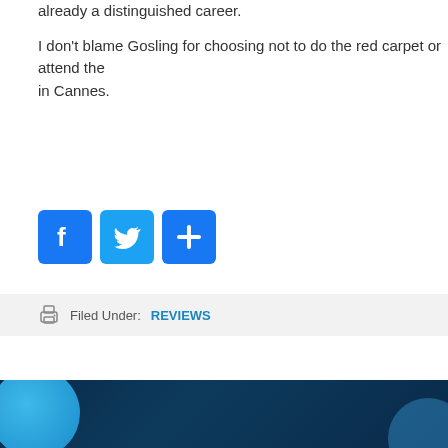already a distinguished career.
I don't blame Gosling for choosing not to do the red carpet or attend the in Cannes.
[Figure (infographic): Social sharing buttons: Facebook (blue), Twitter (blue), and a blue plus/share button]
Filed Under: REVIEWS
[Figure (illustration): Dark navy blue footer bar with blue bokeh/circle decorative elements on left and right]